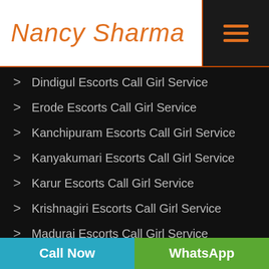[Figure (logo): Nancy Sharma logo in orange italic script font with orange underline, on white background with hamburger menu icon on dark background]
Dindigul Escorts Call Girl Service
Erode Escorts Call Girl Service
Kanchipuram Escorts Call Girl Service
Kanyakumari Escorts Call Girl Service
Karur Escorts Call Girl Service
Krishnagiri Escorts Call Girl Service
Madurai Escorts Call Girl Service
Nagapattinam Escorts Call Girl Service
Call Now   WhatsApp